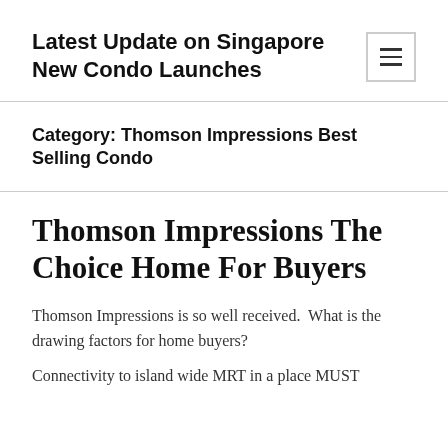Latest Update on Singapore New Condo Launches
Category: Thomson Impressions Best Selling Condo
Thomson Impressions The Choice Home For Buyers
Thomson Impressions is so well received.  What is the drawing factors for home buyers?
Connectivity to island wide MRT in a place MUST